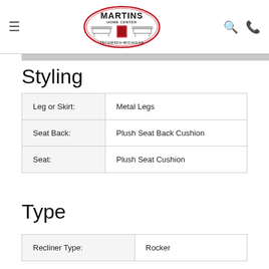Martins Home Center — Tecumseh Michigan
Styling
| Attribute | Value |
| --- | --- |
| Leg or Skirt: | Metal Legs |
| Seat Back: | Plush Seat Back Cushion |
| Seat: | Plush Seat Cushion |
Type
| Attribute | Value |
| --- | --- |
| Recliner Type: | Rocker |